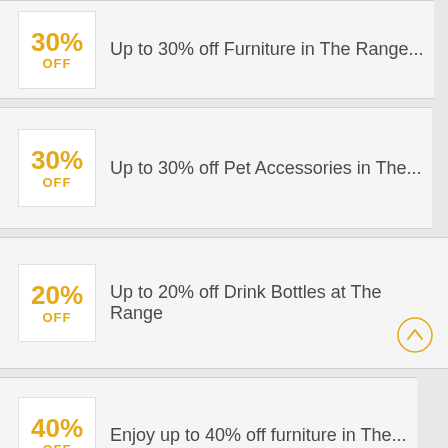30% OFF — Up to 30% off Furniture in The Range...
30% OFF — Up to 30% off Pet Accessories in The...
20% OFF — Up to 20% off Drink Bottles at The Range
40% OFF — Enjoy up to 40% off furniture in The...